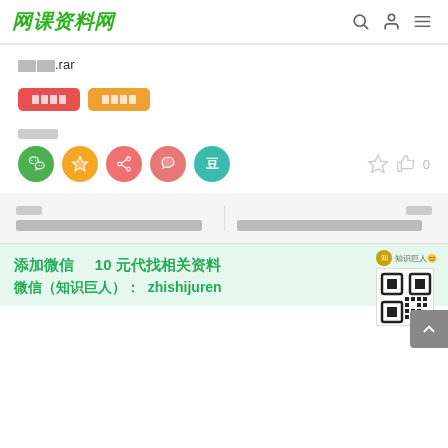网课资料网
██.rar
████ ████
█████
[Figure (other): Share buttons row: WeChat (green), Favorites (yellow), Share (salmon), QQ (pink), Douban (teal); plus star and thumbs-up (0) icons]
上篇 下篇 related article links
添加微信 10元代找相关资料
微信（知识巨人）：zhishijuren